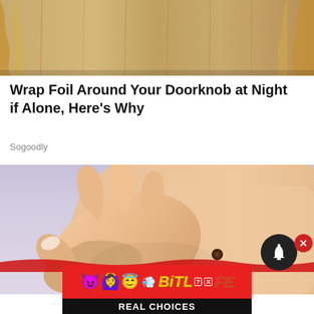[Figure (photo): Top portion of a wooden door with gold/tan curtain or fabric visible]
Wrap Foil Around Your Doorknob at Night if Alone, Here's Why
Sogoodly
[Figure (photo): Close-up of a hand pinching/touching a mole or skin tag on someone's torso against a light purple background]
[Figure (screenshot): BitLife mobile game advertisement banner with emoji characters (devil, woman, winking angel) and tagline REAL CHOICES]